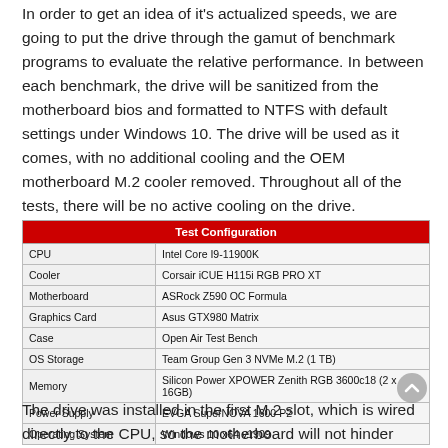In order to get an idea of it's actualized speeds, we are going to put the drive through the gamut of benchmark programs to evaluate the relative performance. In between each benchmark, the drive will be sanitized from the motherboard bios and formatted to NTFS with default settings under Windows 10. The drive will be used as it comes, with no additional cooling and the OEM motherboard M.2 cooler removed. Throughout all of the tests, there will be no active cooling on the drive.
| Test Configuration |  |
| --- | --- |
| CPU | Intel Core I9-11900K |
| Cooler | Corsair iCUE H115i RGB PRO XT |
| Motherboard | ASRock Z590 OC Formula |
| Graphics Card | Asus GTX980 Matrix |
| Case | Open Air Test Bench |
| OS Storage | Team Group Gen 3 NVMe M.2 (1 TB) |
| Memory | Silicon Power XPOWER Zenith RGB 3600c18 (2 x 16GB) |
| Power Supply | EVGA SuperNOVA 1600 P2 |
| Operating System | Windows 10 x64 v1909 |
The drive was installed in the first M.2 slot, which is wired directly to the CPU, so the motherboard will not hinder